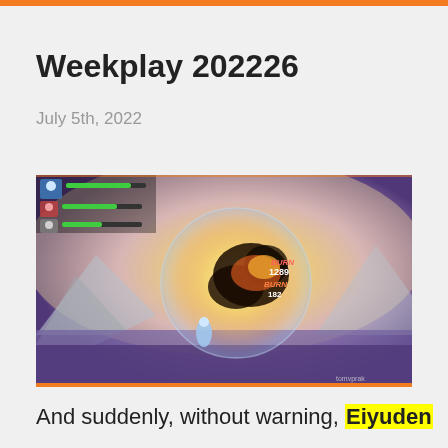Weekplay 202226
July 5th, 2022
[Figure (screenshot): A screenshot from the game Eiyuden Chronicle showing combat in a 2D side-scrolling environment with fantasy landscape, bright glowing orb effect, characters fighting, and HUD elements in top-left corner.]
And suddenly, without warning, Eiyuden